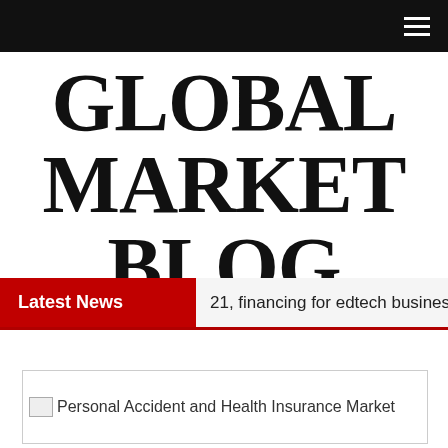GLOBAL MARKET BLOG
Latest News  21, financing for edtech businesses in Eur
[Figure (other): Broken image placeholder with caption: Personal Accident and Health Insurance Market]